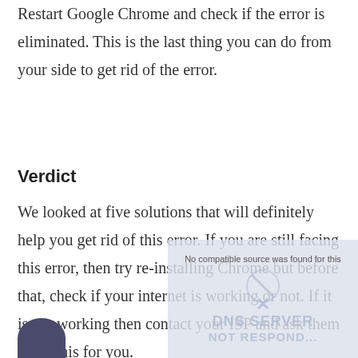Restart Google Chrome and check if the error is eliminated. This is the last thing you can do from your side to get rid of the error.
Verdict
We looked at five solutions that will definitely help you get rid of this error. If you are still facing this error, then try re-installing Chrome but before that, check if your internet is working or not. If it is not working then contact your ISP and ask them to fix this for you.
[Figure (screenshot): A semi-transparent overlay showing a DNS SERVER NOT RESPONDING FIX error screen with a large X symbol and the text 'No compatible source was found for this']